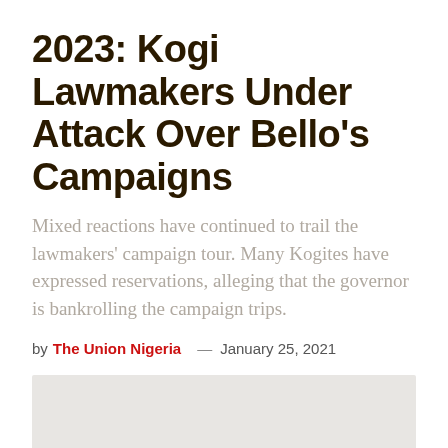2023: Kogi Lawmakers Under Attack Over Bello's Campaigns
Mixed reactions have continued to trail the lawmakers' campaign tour. Many Kogites have expressed reservations, alleging that the governor is bankrolling the campaign trips.
by The Union Nigeria — January 25, 2021
[Figure (photo): Light gray rectangular image placeholder below the article byline]